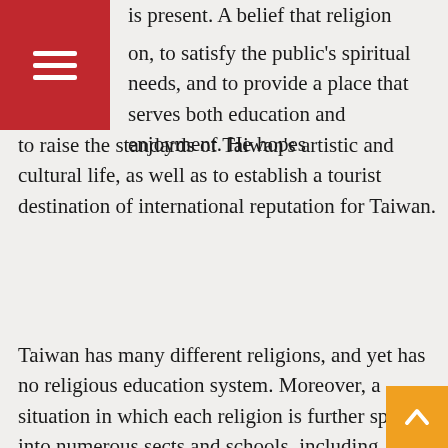[Figure (other): Red hamburger menu button in top-left corner]
is present. A belief that religion on, to satisfy the public's spiritual needs, and to provide a place that serves both education and enjoyment. He hopes to raise the standards of Taiwan's artistic and cultural life, as well as to establish a tourist destination of international reputation for Taiwan.
Taiwan has many different religions, and yet has no religious education system. Moreover, a situation in which each religion is further split into numerous sects and schools, including several who use the good name of religion to trick and swindle the public, leaves ordinary people either very confused or reluctant to have any dealings with religion. Alternatively, contact with a particular religious group and a subsequent complete faith in the words uttered by an evangelist preacher, leaves people with no means of distinguishing right from wrong which, at its most serious, can cause grave problems in the family or society. Whilst not wishing to pressurize everybody into embracing
[Figure (other): Orange scroll-to-top button with upward chevron arrow in bottom-right corner]